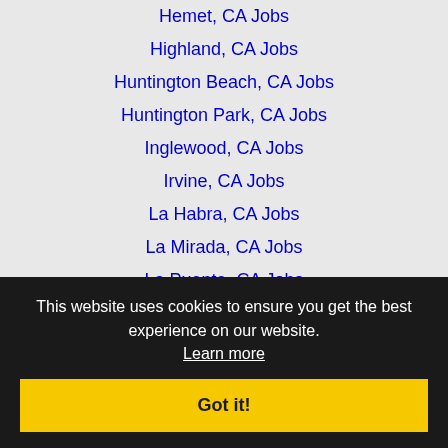Hemet, CA Jobs
Highland, CA Jobs
Huntington Beach, CA Jobs
Huntington Park, CA Jobs
Inglewood, CA Jobs
Irvine, CA Jobs
La Habra, CA Jobs
La Mirada, CA Jobs
La Puente, CA Jobs
Laguna Beach, CA Jobs
Laguna Niguel, CA Jobs
Lakewood, CA Jobs
Lancaster, CA Jobs
Long Beach, CA Jobs
Los Angeles, CA Jobs
Lynwood, CA Jobs
This website uses cookies to ensure you get the best experience on our website. Learn more
Got it!